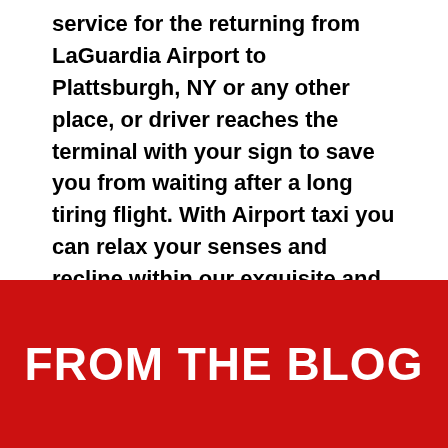service for the returning from LaGuardia Airport to Plattsburgh, NY or any other place, or driver reaches the terminal with your sign to save you from waiting after a long tiring flight. With Airport taxi you can relax your senses and recline within our exquisite and alluring ambience of the car after the day-long tedious trip.
Quick Quote or Book Now
FROM THE BLOG